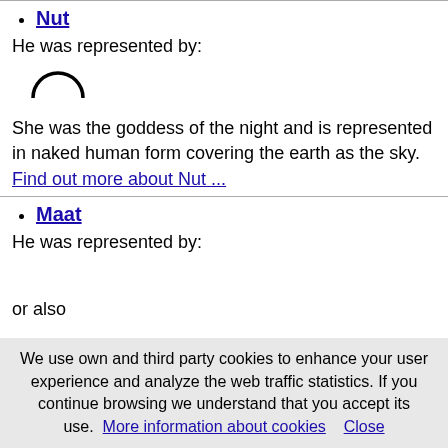Nut
He was represented by:
[Figure (other): Egyptian hieroglyph symbol - semicircle shape representing Nut]
She was the goddess of the night and is represented in naked human form covering the earth as the sky. Find out more about Nut ...
Maat
He was represented by:
or also
We use own and third party cookies to enhance your user experience and analyze the web traffic statistics. If you continue browsing we understand that you accept its use. More information about cookies   Close